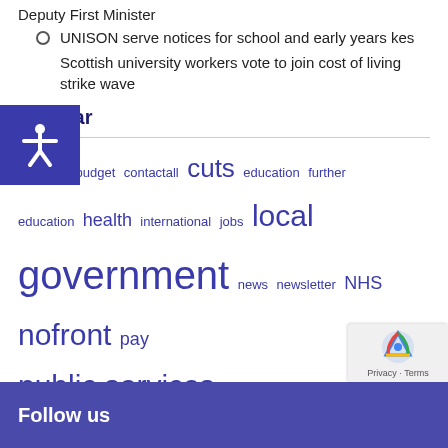Deputy First Minister
UNISON serve notices for school and early years kes
Scottish university workers vote to join cost of living strike wave
Popular
austerity budget contactall cuts education further education health international jobs local government news newsletter NHS nofront pay public services Public Works Scottish Government social care social work strike women
Follow us